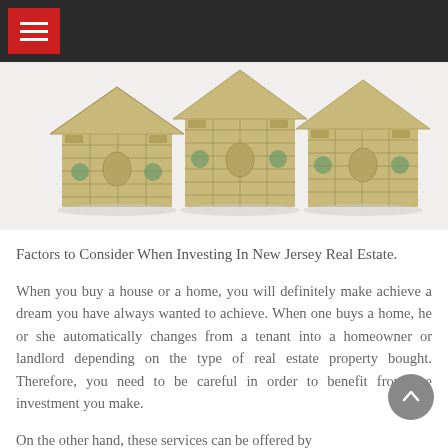Navigation bar with hamburger menu
[Figure (photo): Three houses made of US dollar bills arranged side by side on a white background, representing real estate investment with money.]
Factors to Consider When Investing In New Jersey Real Estate.
When you buy a house or a home, you will definitely make achieve a dream you have always wanted to achieve. When one buys a home, he or she automatically changes from a tenant into a homeowner or landlord depending on the type of real estate property bought. Therefore, you need to be careful in order to benefit from the investment you make.
On the other hand, these services can be offered by